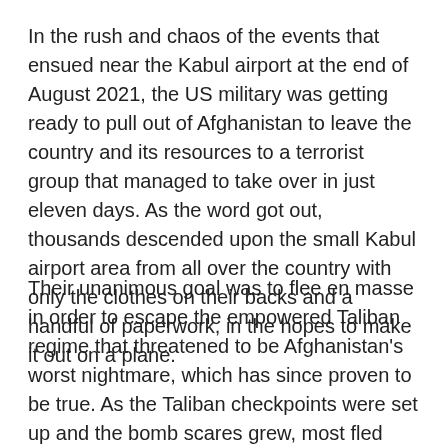In the rush and chaos of the events that ensued near the Kabul airport at the end of August 2021, the US military was getting ready to pull out of Afghanistan to leave the country and its resources to a terrorist group that managed to take over in just eleven days. As the word got out, thousands descended upon the small Kabul airport area from all over the country with only the clothes on their backs and a handful of paperwork, in the hopes to make it out on a plane.
Their unanimous goal was to flee en masse in order to escape the empowered Taliban regime that threatened to be Afghanistan's worst nightmare, which has since proven to be true. As the Taliban checkpoints were set up and the bomb scares grew, most fled away from the airport for safety, dashing their hopes for a speedy escape. Many